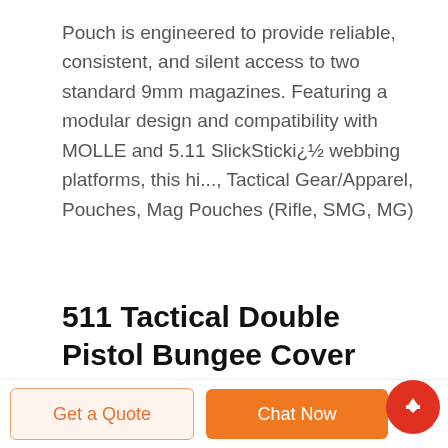Pouch is engineered to provide reliable, consistent, and silent access to two standard 9mm magazines. Featuring a modular design and compatibility with MOLLE and 5.11 SlickSticki¿½ webbing platforms, this hi..., Tactical Gear/Apparel, Pouches, Mag Pouches (Rifle, SMG, MG)
511 Tactical Double Pistol Bungee Cover Magazine Pouch ...